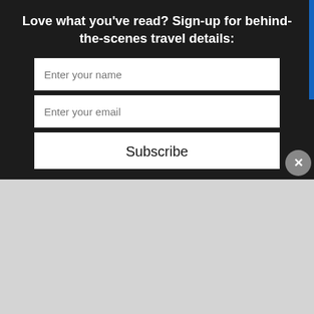Love what you've read? Sign-up for behind-the-scenes travel details:
Enter your name
Enter your email
Subscribe
[Figure (photo): Concert/festival scene with stage lighting in purple and amber tones, crowd silhouettes visible in foreground]
But the best part about the Windscape Kite Festival is that it's completely free. There are even savings on coupons for children's activities and kite flying lessons
cy & Cookies: This site uses cookies. By continuing to use this ite, you agree to their use.
Ashburn  OPEN  8AM–8PM  44110 Ashburn Shopping Plaza 190, A..